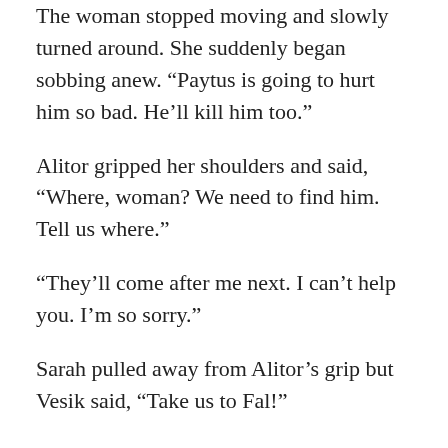The woman stopped moving and slowly turned around. She suddenly began sobbing anew. “Paytus is going to hurt him so bad. He’ll kill him too.”
Alitor gripped her shoulders and said, “Where, woman? We need to find him. Tell us where.”
“They’ll come after me next. I can’t help you. I’m so sorry.”
Sarah pulled away from Alitor’s grip but Vesik said, “Take us to Fal!”
She suddenly stopped, turned, then began jogging back where she had come from. Vesik said, “Come on,” and took off after her. Koe and Alitor threw him odd looks then followed suit. Just several minutes passed before Sarah stopped and then put her hand on a door to a building at the end of an alley